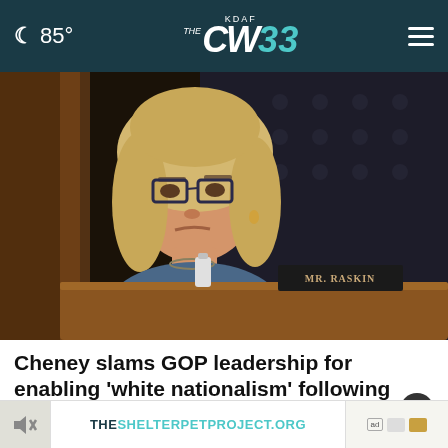KDAF THE CW 33 | 85°
[Figure (photo): A woman with blonde hair and dark-framed glasses seated at a hearing table, with a nameplate reading 'MR. RASKIN' visible in the lower right. An American flag is visible in the background.]
Cheney slams GOP leadership for enabling 'white nationalism' following Buffalo shooting
[Figure (screenshot): Advertisement banner for THESHELTERPETPROJECT.ORG with ad badges on the right side.]